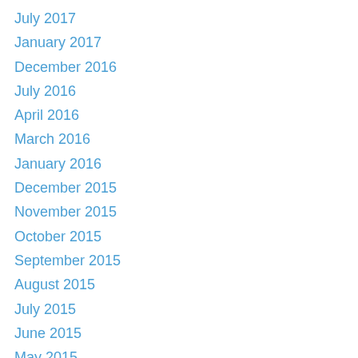July 2017
January 2017
December 2016
July 2016
April 2016
March 2016
January 2016
December 2015
November 2015
October 2015
September 2015
August 2015
July 2015
June 2015
May 2015
April 2015
February 2015
January 2015
December 2014
November 2014